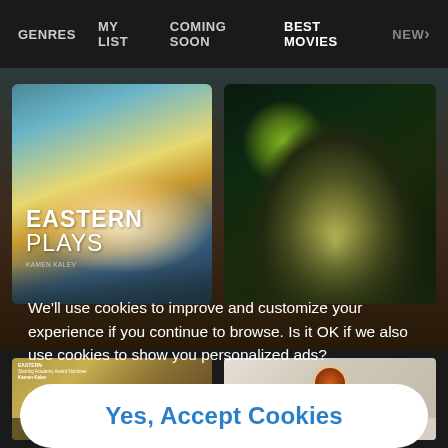GENRES  MY LIST  COMING SOON  BEST MOVIES  NEW>
[Figure (screenshot): Movie streaming interface showing two film thumbnails: 'Eastern Plays' on the left with sky/cloud background, and an unnamed film on the right with a male face against green-tinted background]
We'll use cookies to improve and customize your experience if you continue to browse. Is it OK if we also use cookies to show you personalized ads?
Yes, Accept Cookies
[Figure (screenshot): Bottom section showing two more movie thumbnails in a lower row with action icons below]